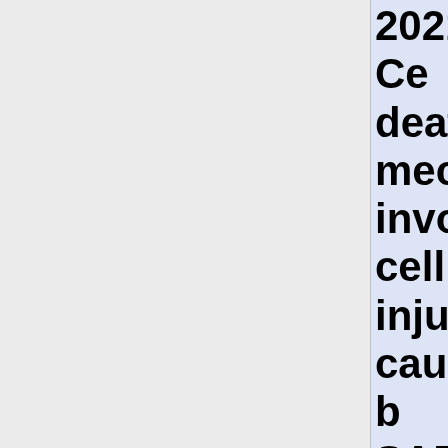2021. Cell death mechanisms involved in cell injury caused by SARS-CoV-2.
34625989 2022. Correlation of myeloid-